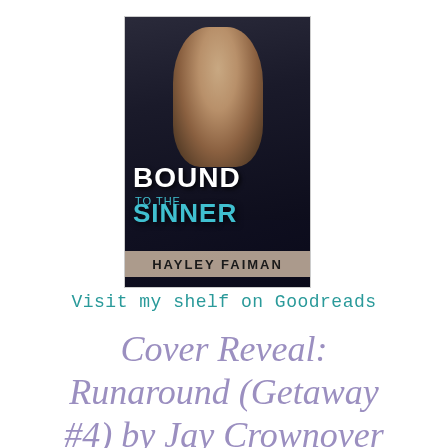[Figure (illustration): Book cover for 'Bound to the Sinner' by Hayley Faiman, showing a man in a dark jacket with the title text in white and teal, and the author name on a tan banner at the bottom]
Visit my shelf on Goodreads
Cover Reveal:
Runaround (Getaway #4) by Jay Crownover